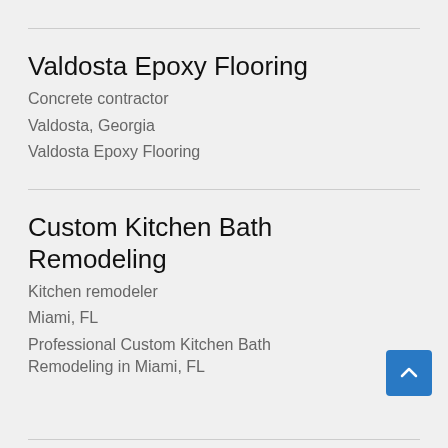Valdosta Epoxy Flooring
Concrete contractor
Valdosta, Georgia
Valdosta Epoxy Flooring
Custom Kitchen Bath Remodeling
Kitchen remodeler
Miami, FL
Professional Custom Kitchen Bath Remodeling in Miami, FL